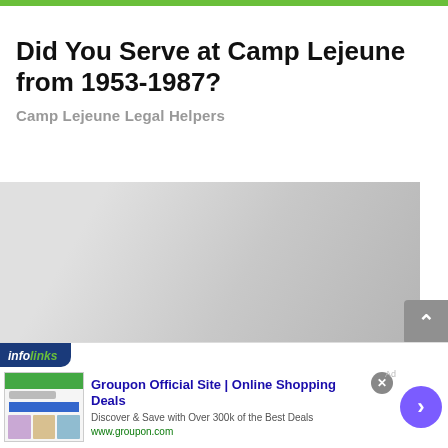Did You Serve at Camp Lejeune from 1953-1987?
Camp Lejeune Legal Helpers
[Figure (other): Large gray gradient content image placeholder area]
[Figure (screenshot): Infolinks ad banner showing Groupon Official Site | Online Shopping Deals advertisement with text 'Discover & Save with Over 300k of the Best Deals' and URL www.groupon.com]